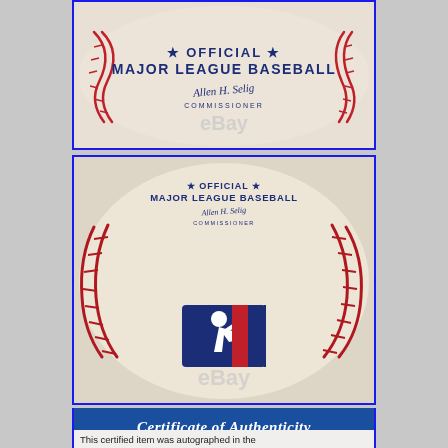[Figure (photo): Close-up photo of an Official Major League Baseball showing the commissioner's stamp with stars and signature, with eBay watermark. Blue border.]
[Figure (photo): Photo of an Official Major League Baseball showing the MLB batter logo on the front, with red stitching visible. Text reads OFFICIAL MAJOR LEAGUE BASEBALL with commissioner signature. eBay watermark visible. Blue border.]
Certificate of Authenticity
This certified item was autographed in the